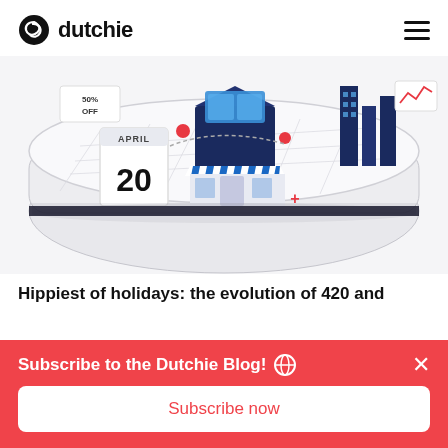dutchie
[Figure (illustration): Isometric illustration of a cannabis retail shop on April 20 with store front showing blue awning, calendar with APRIL 20, a discount sign, and city buildings in the background on a rounded white platform.]
Hippiest of holidays: the evolution of 420 and
Subscribe to the Dutchie Blog!
Subscribe now